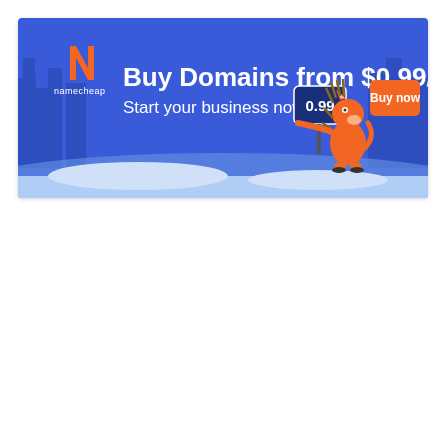[Figure (illustration): Namecheap advertisement banner. Blue background with city skyline silhouette. Left side shows the Namecheap logo (orange N letter with 'namecheap' text below). Center text reads 'Buy Domains from $0.99/yr' in large bold white text and 'Start your business now' below. Right side shows an orange cartoon hedgehog/fox character holding a sign that reads '0.99'. Far right has a large orange 'Buy now' button.]